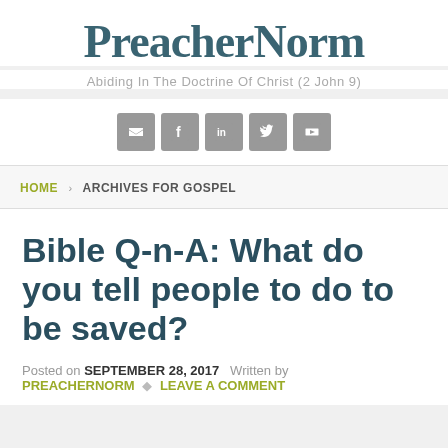PreacherNorm
Abiding In The Doctrine Of Christ (2 John 9)
[Figure (infographic): Social media icons: email, Facebook, LinkedIn, Twitter, YouTube]
HOME › ARCHIVES FOR GOSPEL
Bible Q-n-A: What do you tell people to do to be saved?
Posted on SEPTEMBER 28, 2017   Written by PREACHERNORM  🏷 LEAVE A COMMENT